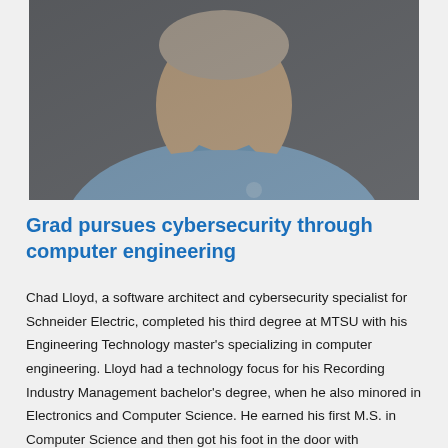[Figure (photo): Professional headshot of Chad Lloyd, a man wearing a light blue polo shirt, photographed against a dark gray background.]
Grad pursues cybersecurity through computer engineering
Chad Lloyd, a software architect and cybersecurity specialist for Schneider Electric, completed his third degree at MTSU with his Engineering Technology master's specializing in computer engineering. Lloyd had a technology focus for his Recording Industry Management bachelor's degree, when he also minored in Electronics and Computer Science. He earned his first M.S. in Computer Science and then got his foot in the door with Schneider through his Engineering Technology M.S. in 2006. "It is a perfect